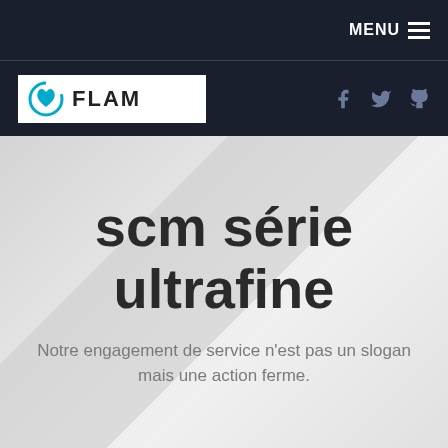MENU
[Figure (logo): FLAM logo with blue circular icon and white background box with text FLAM]
scm série ultrafine
Notre engagement de service n'est pas un slogan mais une action ferme.